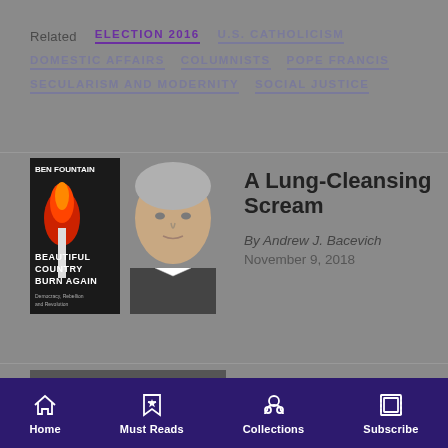Related  ELECTION 2016  U.S. CATHOLICISM  DOMESTIC AFFAIRS  COLUMNISTS  POPE FRANCIS  SECULARISM AND MODERNITY  SOCIAL JUSTICE
[Figure (photo): Book cover and author photo for 'Beautiful Country Burn Again' by Ben Fountain, with image of middle-aged man in suit]
A Lung-Cleansing Scream
By Andrew J. Bacevich
November 9, 2018
How Religion Got
Home  Must Reads  Collections  Subscribe